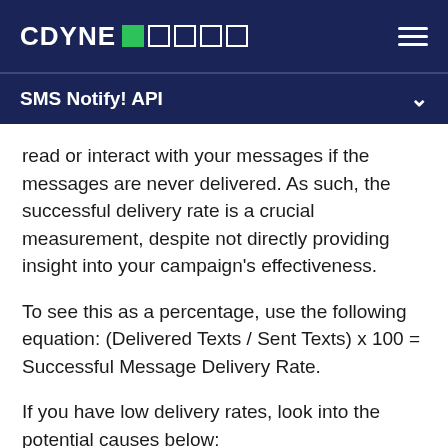CDYNE [logo squares] — SMS Notify! API
SMS Notify! API
read or interact with your messages if the messages are never delivered. As such, the successful delivery rate is a crucial measurement, despite not directly providing insight into your campaign's effectiveness.
To see this as a percentage, use the following equation: (Delivered Texts / Sent Texts) x 100 = Successful Message Delivery Rate.
If you have low delivery rates, look into the potential causes below:
Carrier errors